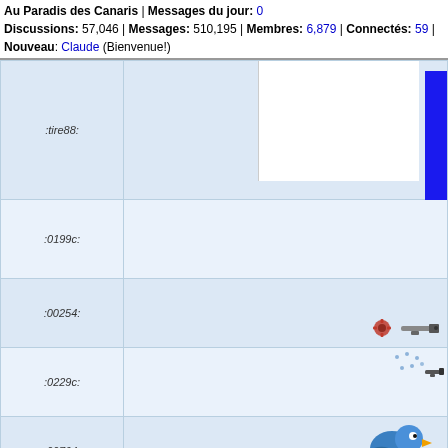Au Paradis des Canaris | Messages du jour: 0 Discussions: 57,046 | Messages: 510,195 | Membres: 6,879 | Connectés: 59 | Nouveau: Claude (Bienvenue!)
| Username | Content |
| --- | --- |
| :tire88: |  |
| :0199c: |  |
| :00254: |  |
| :0229c: |  |
| :00764: |  |
| :arc: |  |
| :01264: |  |
| :ouch: |  |